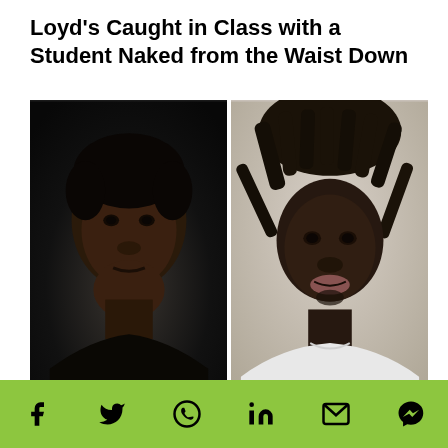Loyd's Caught in Class with a Student Naked from the Waist Down
[Figure (photo): Two side-by-side photos: left is a dark portrait/headshot of a young Black man in a dark background; right is a mugshot of a Black man with dreadlocks wearing a white shirt against a light background.]
Michael Loyd
(Twitter)
[Figure (infographic): Green social sharing bar with icons for Facebook, Twitter, WhatsApp, LinkedIn, Email, and Facebook Messenger]